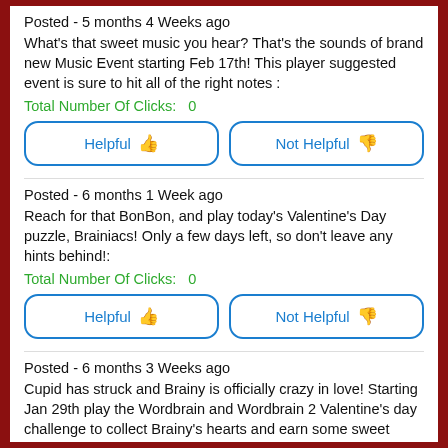Posted - 5 months 4 Weeks ago
What's that sweet music you hear? That's the sounds of brand new Music Event starting Feb 17th! This player suggested event is sure to hit all of the right notes :
Total Number Of Clicks:  0
[Figure (other): Two buttons: 'Helpful' with thumbs up icon (blue border) and 'Not Helpful' with thumbs down icon (blue border, red icon)]
Posted - 6 months 1 Week ago
Reach for that BonBon, and play today's Valentine's Day puzzle, Brainiacs! Only a few days left, so don't leave any hints behind!:
Total Number Of Clicks:  0
[Figure (other): Two buttons: 'Helpful' with thumbs up icon (blue border) and 'Not Helpful' with thumbs down icon (blue border, red icon)]
Posted - 6 months 3 Weeks ago
Cupid has struck and Brainy is officially crazy in love! Starting Jan 29th play the Wordbrain and Wordbrain 2 Valentine's day challenge to collect Brainy's hearts and earn some sweet sweet hints. Can you collect 'em all? :